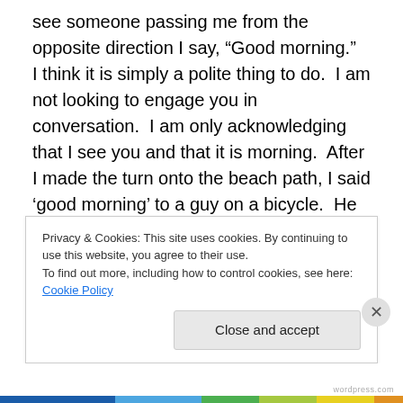see someone passing me from the opposite direction I say, “Good morning.”  I think it is simply a polite thing to do.  I am not looking to engage you in conversation.  I am only acknowledging that I see you and that it is morning.  After I made the turn onto the beach path, I said ‘good morning’ to a guy on a bicycle.  He then proceeded to start yakking at me.  I did not slow down or respond to him and I have no idea what he even said, nor did I care.  Little did I know that he followed me.  Didn’t know it until I went to cross the street to go up and over the 101.  I wasn’t scared, but I was pissed.
Privacy & Cookies: This site uses cookies. By continuing to use this website, you agree to their use.
To find out more, including how to control cookies, see here: Cookie Policy
Close and accept